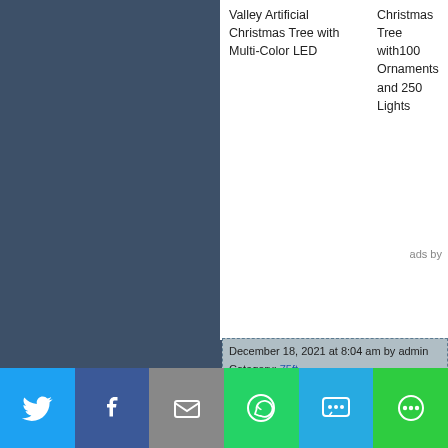Valley Artificial Christmas Tree with Multi-Color LED
Christmas Tree with100 Ornaments and 250 Lights
ads by
December 18, 2021 at 8:04 am by admin
Category: 75ft
Tags: 75ft, artificial, christmas, cones, hinged, lights
No Comments - "7.5Ft Pre-Lit Artificial Christ... Cones"
No Comments allowed
[Figure (infographic): Social share buttons row: Twitter (blue), Facebook (dark blue), Email (grey), WhatsApp (green), SMS (light blue), More (green)]